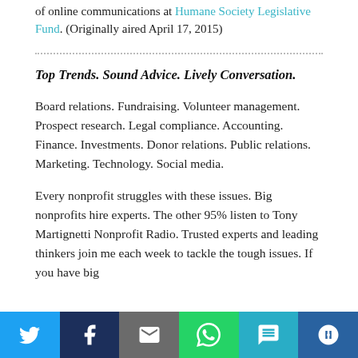of online communications at Humane Society Legislative Fund. (Originally aired April 17, 2015)
Top Trends. Sound Advice. Lively Conversation.
Board relations. Fundraising. Volunteer management. Prospect research. Legal compliance. Accounting. Finance. Investments. Donor relations. Public relations. Marketing. Technology. Social media.
Every nonprofit struggles with these issues. Big nonprofits hire experts. The other 95% listen to Tony Martignetti Nonprofit Radio. Trusted experts and leading thinkers join me each week to tackle the tough issues. If you have big
[Figure (infographic): Social media share bar with icons for Twitter, Facebook, Email, WhatsApp, SMS, and More]